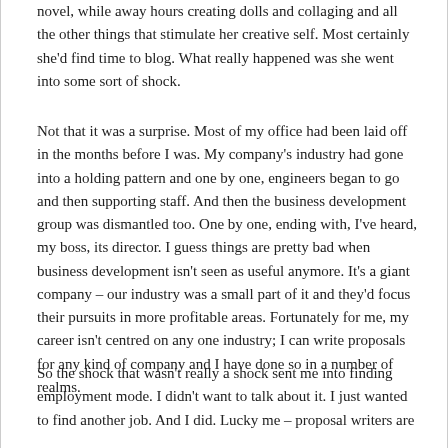novel, while away hours creating dolls and collaging and all the other things that stimulate her creative self. Most certainly she'd find time to blog. What really happened was she went into some sort of shock.
Not that it was a surprise. Most of my office had been laid off in the months before I was. My company's industry had gone into a holding pattern and one by one, engineers began to go and then supporting staff. And then the business development group was dismantled too. One by one, ending with, I've heard, my boss, its director. I guess things are pretty bad when business development isn't seen as useful anymore. It's a giant company – our industry was a small part of it and they'd focus their pursuits in more profitable areas. Fortunately for me, my career isn't centred on any one industry; I can write proposals for any kind of company and I have done so in a number of realms.
So the shock that wasn't really a shock sent me into finding employment mode. I didn't want to talk about it. I just wanted to find another job. And I did. Lucky me – proposal writers are